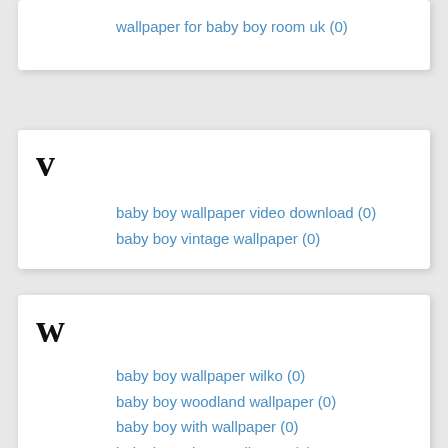wallpaper for baby boy room uk (0)
v
baby boy wallpaper video download (0)
baby boy vintage wallpaper (0)
w
baby boy wallpaper wilko (0)
baby boy woodland wallpaper (0)
baby boy with wallpaper (0)
baby boy winter wallpaper (0)